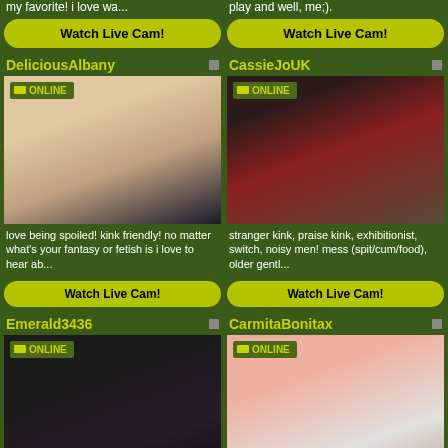my favorite! i love wa...
play and well, me;).
[Figure (other): Watch Live Cam button left top]
[Figure (other): Watch Live Cam button right top]
DeliciousAlbany
CassieJoUK
[Figure (photo): DeliciousAlbany live cam profile photo with ONLINE badge]
[Figure (photo): CassieJoUK live cam profile photo with ONLINE badge]
love being spoiled! kink friendly! no matter what's your fantasy or fetish is i love to hear ab...
stranger kink, praise kink, exhibitionist, switch, noisy men! mess (spit/cum/food), older gentl...
[Figure (other): Watch Live Cam button left]
[Figure (other): Watch Live Cam button right]
Emerald3436
CarmitaBonitax
[Figure (photo): Emerald3436 live cam profile photo with ONLINE badge]
[Figure (photo): CarmitaBonitax live cam profile photo with ONLINE badge]